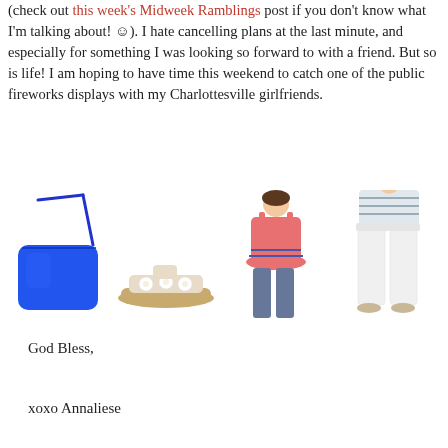(check out this week's Midweek Ramblings post if you don't know what I'm talking about! ☺). I hate cancelling plans at the last minute, and especially for something I was looking so forward to with a friend. But so is life! I am hoping to have time this weekend to catch one of the public fireworks displays with my Charlottesville girlfriends.
[Figure (photo): Four fashion items arranged in a row: a cobalt blue crossbody bag, white floral flat sandals, a pink peplum tank top worn with jeans, and white slim pants.]
God Bless,
xoxo Annaliese